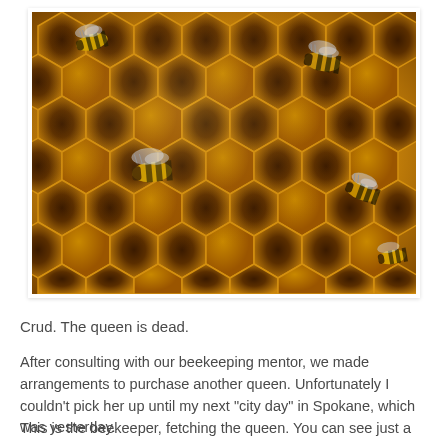[Figure (photo): Close-up photograph of a honeycomb with several honeybees on the golden hexagonal wax cells. The cells are dark in the center and the bees have striped abdomens and translucent wings.]
Crud. The queen is dead.
After consulting with our beekeeping mentor, we made arrangements to purchase another queen. Unfortunately I couldn't pick her up until my next "city day" in Spokane, which was yesterday.
This is the beekeeper, fetching the queen. You can see just a